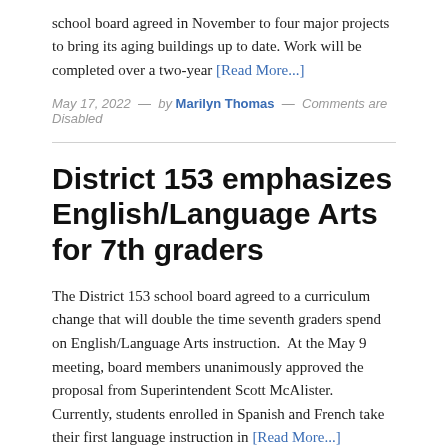school board agreed in November to four major projects to bring its aging buildings up to date. Work will be completed over a two-year [Read More...]
May 17, 2022  —  by Marilyn Thomas  —  Comments are Disabled
District 153 emphasizes English/Language Arts for 7th graders
The District 153 school board agreed to a curriculum change that will double the time seventh graders spend on English/Language Arts instruction.  At the May 9 meeting, board members unanimously approved the proposal from Superintendent Scott McAlister. Currently, students enrolled in Spanish and French take their first language instruction in [Read More...]